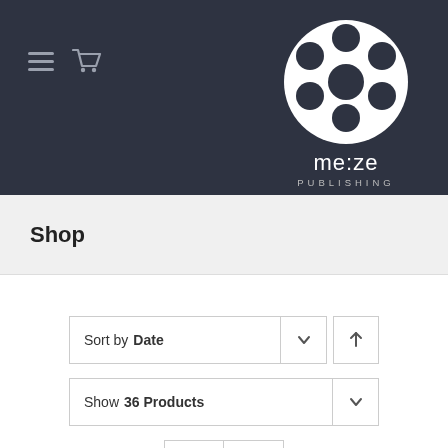[Figure (logo): Me:ze Publishing logo — white film reel circle with dark dots on dark background, with text 'me:ze PUBLISHING' below]
Shop
Sort by Date
Show 36 Products